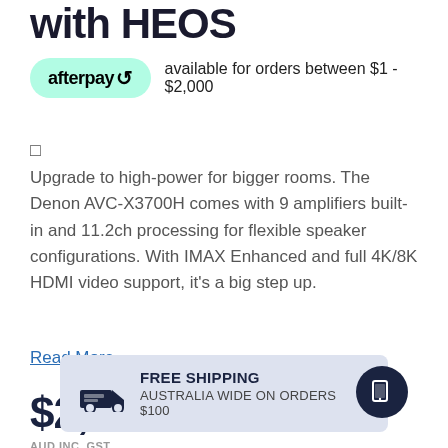with HEOS
[Figure (logo): Afterpay badge (mint green rounded pill) with text 'afterpay' and recycling-style arrows logo, followed by text 'available for orders between $1 - $2,000']
Upgrade to high-power for bigger rooms. The Denon AVC-X3700H comes with 9 amplifiers built-in and 11.2ch processing for flexible speaker configurations. With IMAX Enhanced and full 4K/8K HDMI video support, it's a big step up.
Read More
$2,685.00
AUD INC. GST
FREE SHIPPING
AUSTRALIA WIDE ON ORDERS $100